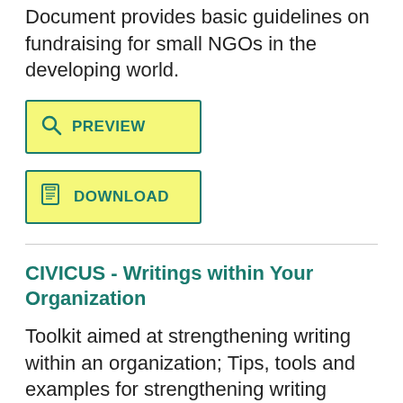Document provides basic guidelines on fundraising for small NGOs in the developing world.
[Figure (other): PREVIEW button with search icon, yellow background, teal border]
[Figure (other): DOWNLOAD button with PDF icon, yellow background, teal border]
CIVICUS - Writings within Your Organization
Toolkit aimed at strengthening writing within an organization; Tips, tools and examples for strengthening writing within your